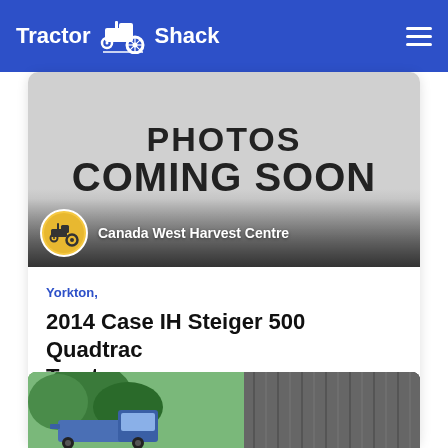Tractor Shack
[Figure (photo): Photos Coming Soon placeholder image with Canada West Harvest Centre dealer badge]
Yorkton,
2014 Case IH Steiger 500 Quadtrac Tractor
$234,900 CAD  9  388
[Figure (photo): Bottom partial photo showing a blue truck and corrugated metal building exterior]